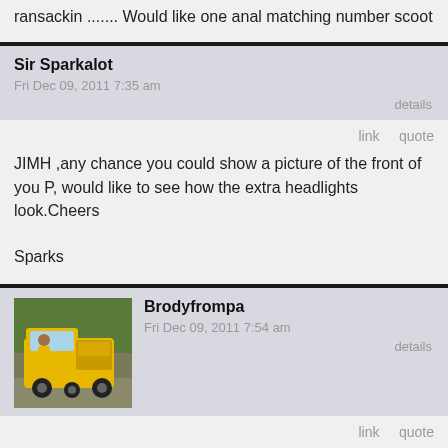ransackin ....... Would like one anal matching number scoot
Sir Sparkalot
Fri Dec 09, 2011 7:35 am
details
link   quote
JIMH ,any chance you could show a picture of the front of you P, would like to see how the extra headlights look.Cheers

Sparks
[Figure (photo): Yellow three-wheeled vehicle/trike with cab, parked outdoors with green trees in background]
Brodyfrompa
Fri Dec 09, 2011 7:54 am
details
link   quote
yo Sparky,
you can see more pics of Jim's Glorious Bastard here....